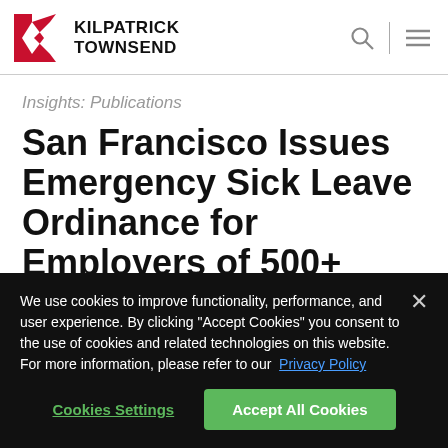[Figure (logo): Kilpatrick Townsend law firm logo with red K chevron shape and bold firm name text]
Insights: Publications
San Francisco Issues Emergency Sick Leave Ordinance for Employers of 500+ Employees
We use cookies to improve functionality, performance, and user experience. By clicking "Accept Cookies" you consent to the use of cookies and related technologies on this website. For more information, please refer to our Privacy Policy
Cookies Settings | Accept All Cookies